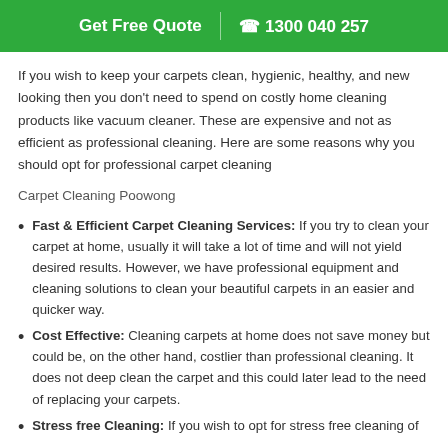Get Free Quote | 1300 040 257
If you wish to keep your carpets clean, hygienic, healthy, and new looking then you don't need to spend on costly home cleaning products like vacuum cleaner. These are expensive and not as efficient as professional cleaning. Here are some reasons why you should opt for professional carpet cleaning
Carpet Cleaning Poowong
Fast & Efficient Carpet Cleaning Services: If you try to clean your carpet at home, usually it will take a lot of time and will not yield desired results. However, we have professional equipment and cleaning solutions to clean your beautiful carpets in an easier and quicker way.
Cost Effective: Cleaning carpets at home does not save money but could be, on the other hand, costlier than professional cleaning. It does not deep clean the carpet and this could later lead to the need of replacing your carpets.
Stress free Cleaning: If you wish to opt for stress free cleaning of